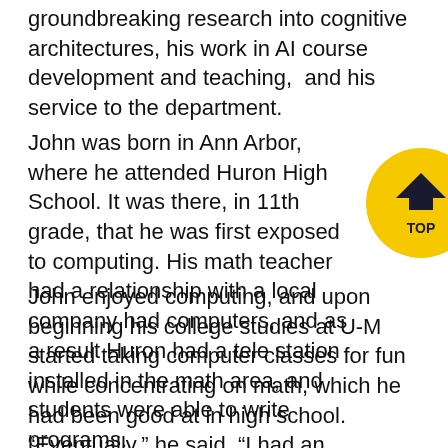groundbreaking research into cognitive architectures, his work in AI course development and teaching,  and his service to the department.
John was born in Ann Arbor, where he attended Huron High School. It was there, in 11th grade, that he was first exposed to computing. His math teacher had a relationship with a local company had computers, and as a result Huron had a tele station installed in the math area, and students were able to write programs.
John enjoyed computing, and upon beginning his college studies at U-M started taking computer classes for fun while concentrating on math, which he had been good at in high school. “Eventually,” he said, “I had an epiphany and realized that I liked the
[Figure (other): Yellow circular 'TOP' navigation button with a dark upward chevron arrow in the center and the word TOP below it.]